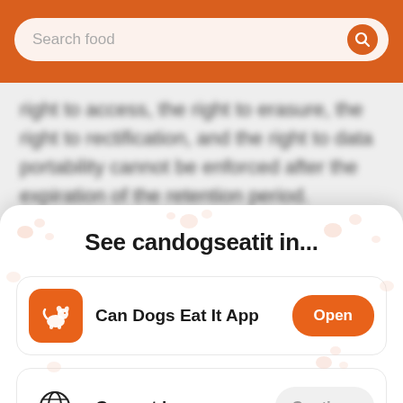[Figure (screenshot): Orange top bar with a search box labeled 'Search food' and a search icon button]
right to access, the right to erasure, the right to rectification, and the right to data portability cannot be enforced after the expiration of the retention period.
[Figure (infographic): Mobile app deep-link bottom sheet with paw print decorations, title 'See candogseatit in...', two options: Can Dogs Eat It App with Open button, and Current browser with Continue button]